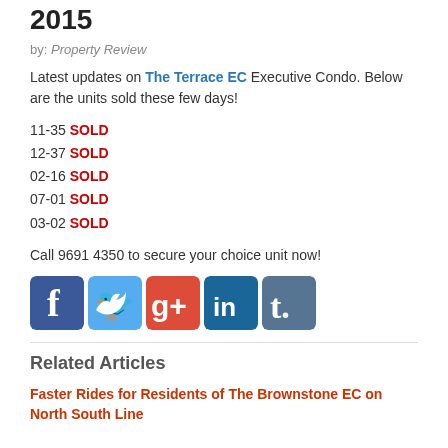2015
by: Property Review
Latest updates on The Terrace EC Executive Condo. Below are the units sold these few days!
11-35 SOLD
12-37 SOLD
02-16 SOLD
07-01 SOLD
03-02 SOLD
Call 9691 4350 to secure your choice unit now!
[Figure (illustration): Social media icons: Facebook, Twitter, Google+, LinkedIn, Tumblr]
Related Articles
Faster Rides for Residents of The Brownstone EC on North South Line